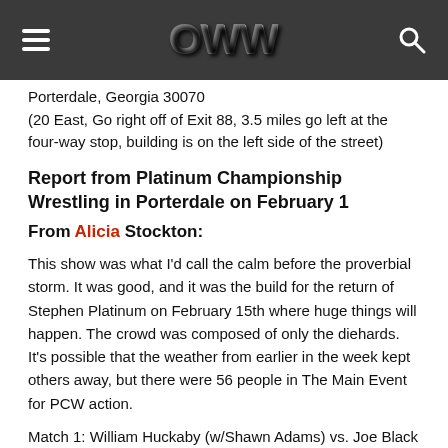OWW (logo with hamburger menu and search icon)
Porterdale, Georgia 30070
(20 East, Go right off of Exit 88, 3.5 miles go left at the four-way stop, building is on the left side of the street)
Report from Platinum Championship Wrestling in Porterdale on February 1
From Alicia Stockton:
This show was what I'd call the calm before the proverbial storm. It was good, and it was the build for the return of Stephen Platinum on February 15th where huge things will happen. The crowd was composed of only the diehards. It's possible that the weather from earlier in the week kept others away, but there were 56 people in The Main Event for PCW action.
Match 1: William Huckaby (w/Shawn Adams) vs. Joe Black